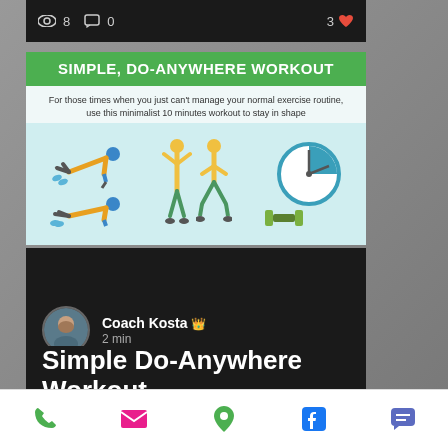8  0  3
[Figure (infographic): Simple, Do-Anywhere Workout infographic showing push-up, standing exercise, squat exercise figures, a clock, and dumbbells. Text: For those times when you just can't manage your normal exercise routine, use this minimalist 10 minutes workout to stay in shape]
Coach Kosta 👑
2 min
Simple Do-Anywhere Workout
For those times when you just can't manage your normal